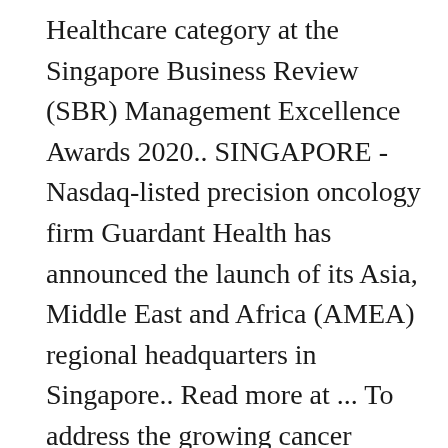Healthcare category at the Singapore Business Review (SBR) Management Excellence Awards 2020.. SINGAPORE - Nasdaq-listed precision oncology firm Guardant Health has announced the launch of its Asia, Middle East and Africa (AMEA) regional headquarters in Singapore.. Read more at ... To address the growing cancer burden in these regions, we formed Guardant Health AMEA, a joint venture with SoftBank. When a ... Welcome back. Guardant Health doesn't appear a compelling earnings-beat candidate. At Guardant Health Inc., we promise to treat your data with respect and will not share your information with any third